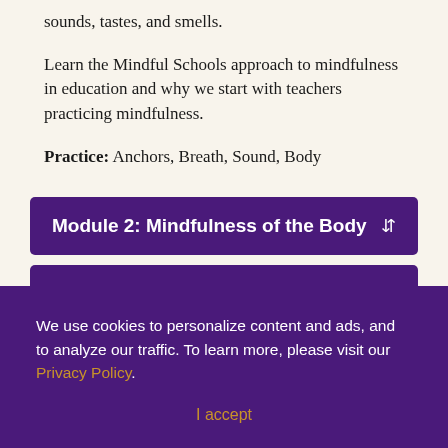sounds, tastes, and smells.
Learn the Mindful Schools approach to mindfulness in education and why we start with teachers practicing mindfulness.
Practice: Anchors, Breath, Sound, Body
Module 2: Mindfulness of the Body
We use cookies to personalize content and ads, and to analyze our traffic. To learn more, please visit our Privacy Policy.
I accept